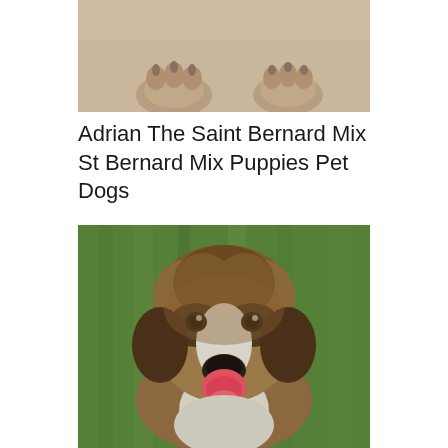[Figure (photo): Top portion of a dog photo showing paws/legs area with light tan fur against a light background]
Adrian The Saint Bernard Mix St Bernard Mix Puppies Pet Dogs
[Figure (photo): A Saint Bernard mix puppy sitting on green grass, looking at the camera with tongue out, fluffy brown and white fur with dark facial markings]